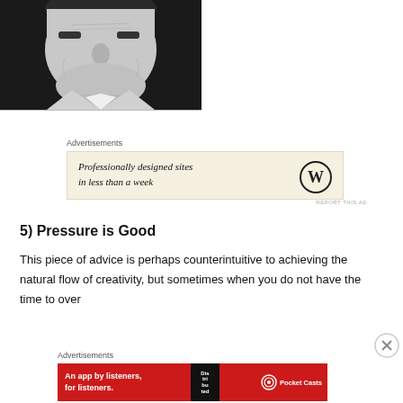[Figure (photo): Black and white portrait photo of an older man smiling, wearing a light blazer and collared shirt]
Advertisements
[Figure (screenshot): Advertisement for WordPress: 'Professionally designed sites in less than a week' with WordPress logo]
5) Pressure is Good
This piece of advice is perhaps counterintuitive to achieving the natural flow of creativity, but sometimes when you do not have the time to over
Advertisements
[Figure (screenshot): Advertisement for Pocket Casts: 'An app by listeners, for listeners.' with red background and phone image]